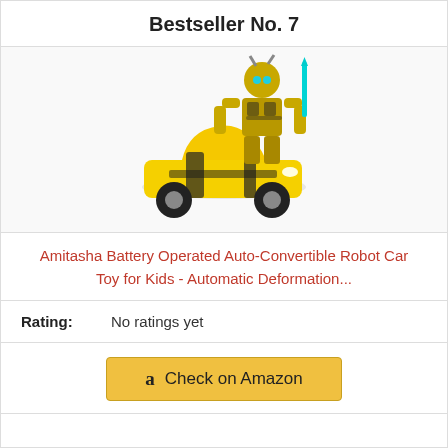Bestseller No. 7
[Figure (photo): Product image showing a yellow sports car toy and a Transformers-style robot figure (Bumblebee) in gold/black color holding a weapon]
Amitasha Battery Operated Auto-Convertible Robot Car Toy for Kids - Automatic Deformation...
Rating: No ratings yet
Check on Amazon